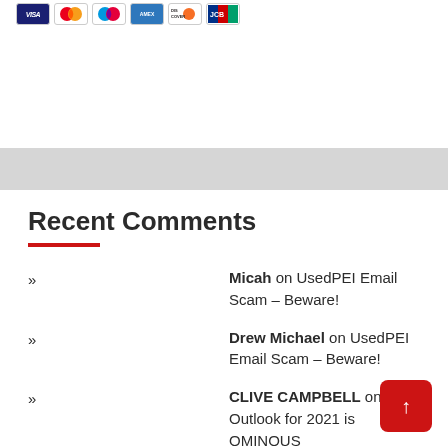[Figure (logo): Payment method icons: Visa, Mastercard, Maestro, American Express, Discover, JCB]
Recent Comments
Micah on UsedPEI Email Scam – Beware!
Drew Michael on UsedPEI Email Scam – Beware!
CLIVE CAMPBELL on The Outlook for 2021 is OMINOUS
CLIVE CAMPBELL on Trump has COVID – Interesting! – How does this relate to bible prophecy?